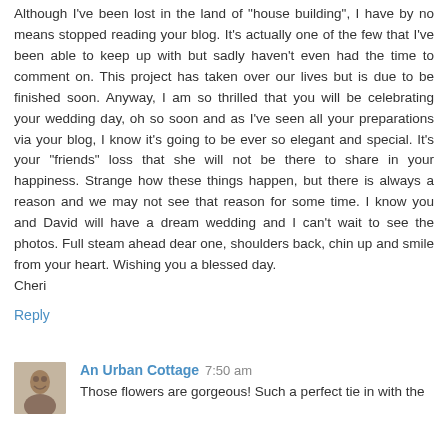Although I've been lost in the land of "house building", I have by no means stopped reading your blog. It's actually one of the few that I've been able to keep up with but sadly haven't even had the time to comment on. This project has taken over our lives but is due to be finished soon. Anyway, I am so thrilled that you will be celebrating your wedding day, oh so soon and as I've seen all your preparations via your blog, I know it's going to be ever so elegant and special. It's your "friends" loss that she will not be there to share in your happiness. Strange how these things happen, but there is always a reason and we may not see that reason for some time. I know you and David will have a dream wedding and I can't wait to see the photos. Full steam ahead dear one, shoulders back, chin up and smile from your heart. Wishing you a blessed day.
Cheri
Reply
An Urban Cottage  7:50 am
Those flowers are gorgeous! Such a perfect tie in with the